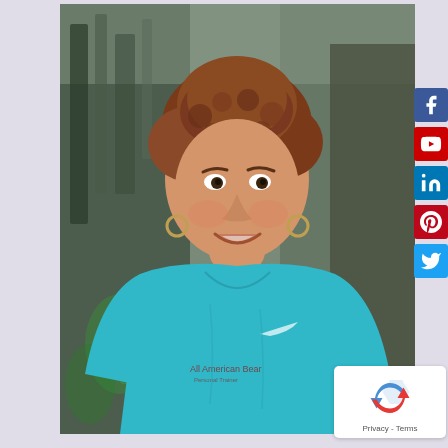[Figure (photo): Portrait photo of a middle-aged woman with curly reddish-brown hair, smiling, wearing a teal/turquoise Nike athletic t-shirt with a small logo on the left chest. Background shows a blurred gym or salon interior with equipment visible. Photo taken in a professional setting.]
[Figure (other): Social media icon bar on right side: Facebook (blue), YouTube (red), LinkedIn (blue), Pinterest (red), Twitter (blue)]
[Figure (other): reCAPTCHA badge in bottom-right corner showing the recycling-style arrow logo and 'Privacy - Terms' text]